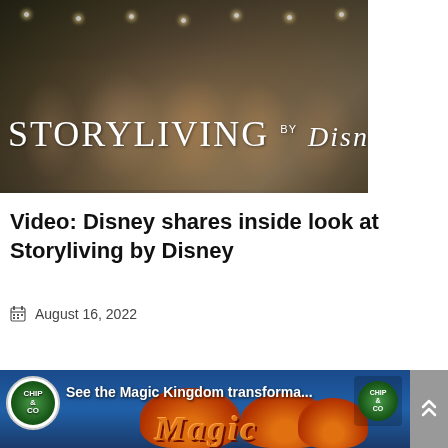[Figure (photo): Storyliving by Disney promotional image showing people toasting with drinks in a warmly lit setting, with the Storyliving by Disney logo overlaid in white text]
Video: Disney shares inside look at Storyliving by Disney
August 16, 2022
[Figure (screenshot): YouTube video thumbnail showing 'See the Magic Kingdom transforma...' with a Chip and Company logo circle, pumpkins and Magic Kingdom signage visible, with orange Magic text]